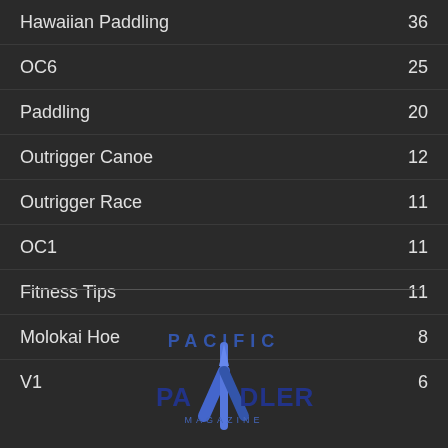Hawaiian Paddling  36
OC6  25
Paddling  20
Outrigger Canoe  12
Outrigger Race  11
OC1  11
Fitness Tips  11
Molokai Hoe  8
V1  6
[Figure (logo): Pacific Paddler Magazine logo with paddle graphic in blue tones]